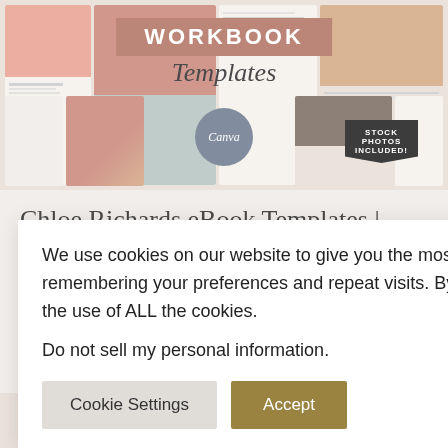[Figure (screenshot): Workbook Templates product mockup showing multiple document pages with pink/tan color scheme, Canva badge, and 'Stock Photos Included' badge]
Chloe Richards eBook Templates |
We use cookies on our website to give you the most relevant experience by remembering your preferences and repeat visits. By clicking "Accept", you consent to the use of ALL the cookies.
Do not sell my personal information.
Cookie Settings   Accept